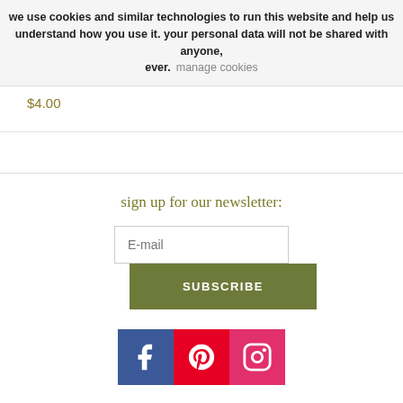we use cookies and similar technologies to run this website and help us understand how you use it. your personal data will not be shared with anyone, ever.   manage cookies
$4.00
sign up for our newsletter:
E-mail
SUBSCRIBE
[Figure (illustration): Social media icons: Facebook (blue), Pinterest (red), Instagram (pink/red)]